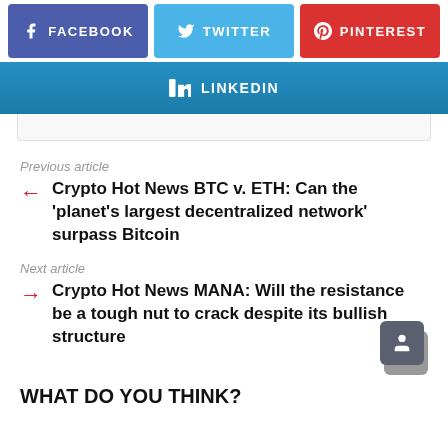[Figure (infographic): Social media share buttons: Facebook (blue-purple), Twitter (light blue), Pinterest (red), LinkedIn (gradient blue)]
Previous article
← Crypto Hot News BTC v. ETH: Can the 'planet's largest decentralized network' surpass Bitcoin
Next article
→ Crypto Hot News MANA: Will the resistance be a tough nut to crack despite its bullish structure
WHAT DO YOU THINK?